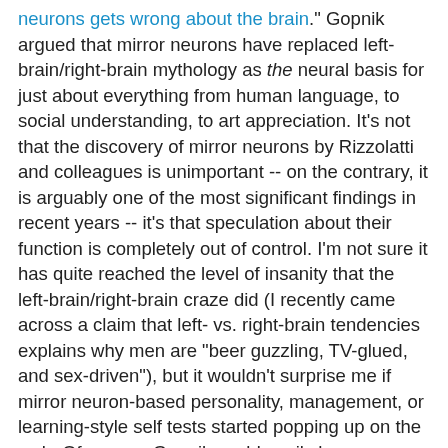neurons gets wrong about the brain." Gopnik argued that mirror neurons have replaced left-brain/right-brain mythology as the neural basis for just about everything from human language, to social understanding, to art appreciation. It's not that the discovery of mirror neurons by Rizzolatti and colleagues is unimportant -- on the contrary, it is arguably one of the most significant findings in recent years -- it's that speculation about their function is completely out of control. I'm not sure it has quite reached the level of insanity that the left-brain/right-brain craze did (I recently came across a claim that left- vs. right-brain tendencies explains why men are "beer guzzling, TV-glued, and sex-driven"), but it wouldn't surprise me if mirror neuron-based personality, management, or learning-style self tests started popping up on the web. Of course, Gopnik could easily have gone even farther back in the history of neuroscience and drawn parallels between the current mirror neuron fad and 19th century phrenology, which, like left-/right-brain function, is another example of the over-application of legitimate scientific ideas. Hmmm... even the functions that are claimed to be supported by Gall's mental organs on the one hand, and the mirror neuron system on the other, are starting to